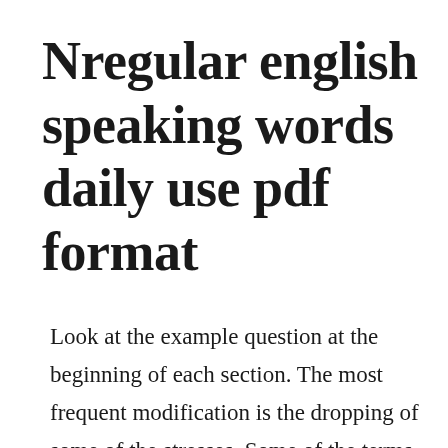Nregular english speaking words daily use pdf format
Look at the example question at the beginning of each section. The most frequent modification is the dropping of some of the stresses. Some of the terms are haveycavey existing for a short period of time, not